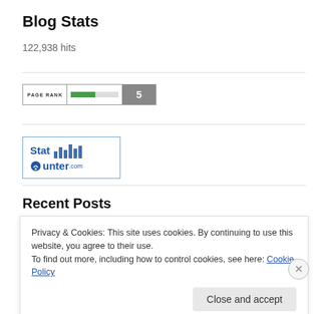Blog Stats
122,938 hits
[Figure (other): Google PageRank widget showing rank 5 with green bar indicator]
[Figure (logo): StatCounter.com logo with bar chart icon]
Recent Posts
Privacy & Cookies: This site uses cookies. By continuing to use this website, you agree to their use.
To find out more, including how to control cookies, see here: Cookie Policy
Close and accept